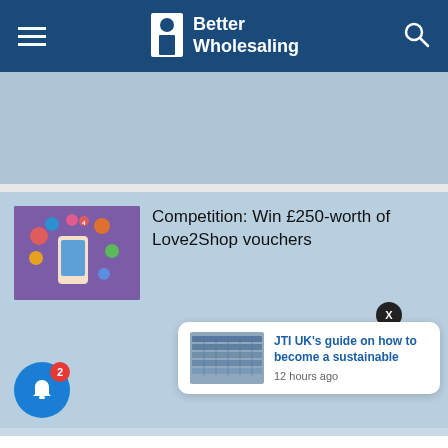Better Wholesaling
[Figure (other): Light blue-grey advertisement banner placeholder]
[Figure (illustration): Purple background illustration with a hand holding a smartphone surrounded by app/social media icons]
Competition: Win £250-worth of Love2Shop vouchers
[Figure (photo): Aerial photo of a large industrial/warehouse facility with solar panels or similar structures]
JTI UK's guide on how to become a sustainable
12 hours ago